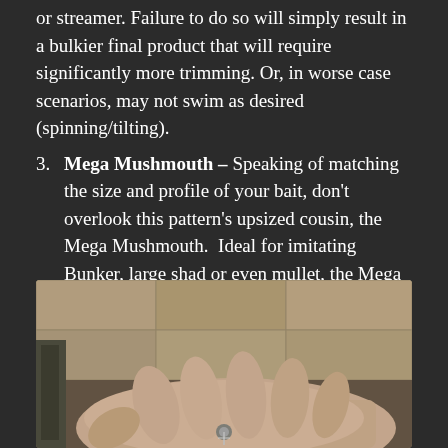or streamer. Failure to do so will simply result in a bulkier final product that will require significantly more trimming. Or, in worse case scenarios, may not swim as desired (spinning/tilting).
3. Mega Mushmouth – Speaking of matching the size and profile of your bait, don't overlook this pattern's upsized cousin, the Mega Mushmouth. Ideal for imitating Bunker, large shad or even mullet, the Mega Mushmouth follows the same recipe as above, but substitutes a full length bunch of SF Blend fibers for Flashabou when creating the semi-rigid spine. Easily reaching 7-10" in length, this is a great pattern for when big bait is on the menu.
[Figure (photo): Close-up photo of a hand holding what appears to be a fly fishing lure or streamer fly, taken indoors with a beige/brown tiled background visible.]